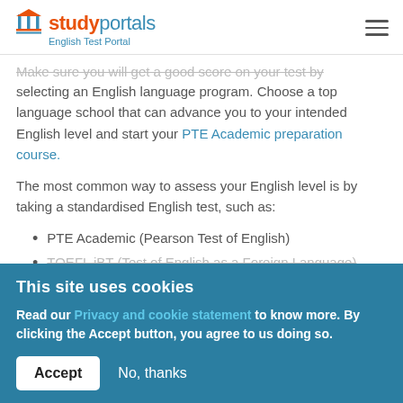studyportals — English Test Portal
Make sure you will get a good score on your test by selecting an English language program. Choose a top language school that can advance you to your intended English level and start your PTE Academic preparation course.
The most common way to assess your English level is by taking a standardised English test, such as:
PTE Academic (Pearson Test of English)
TOEFL iBT (Test of English as a Foreign Language)
This site uses cookies
Read our Privacy and cookie statement to know more. By clicking the Accept button, you agree to us doing so.